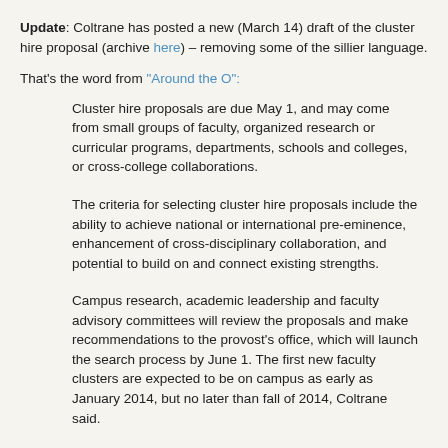Update: Coltrane has posted a new (March 14) draft of the cluster hire proposal (archive here) – removing some of the sillier language.
That's the word from "Around the O":
Cluster hire proposals are due May 1, and may come from small groups of faculty, organized research or curricular programs, departments, schools and colleges, or cross-college collaborations.
The criteria for selecting cluster hire proposals include the ability to achieve national or international pre-eminence, enhancement of cross-disciplinary collaboration, and potential to build on and connect existing strengths.
Campus research, academic leadership and faculty advisory committees will review the proposals and make recommendations to the provost's office, which will launch the search process by June 1. The first new faculty clusters are expected to be on campus as early as January 2014, but no later than fall of 2014, Coltrane said.
The provost's office has set aside $2 million for initial hiring. The university will likely repeat the process every two years, he said.
After the session, Coltrane said faculty response to the initiative has been "uniformly positive."
3/10/2014: Good news and bad news on UO and the AAU
The good news? UO finally has a plan for academic excellence.
The bad news? President Gottfredson has checked out and left RIGE VP Kimberly Andrews Espy in charge.
Here's a screenshot, in case your Department head didn't pass it on, out